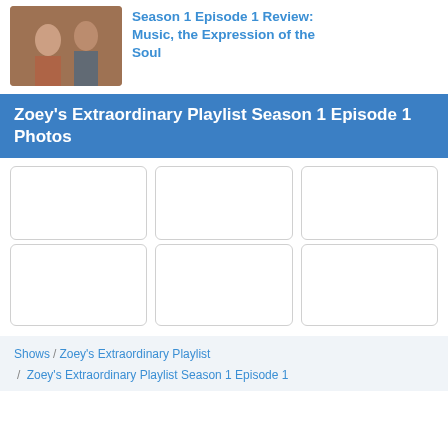[Figure (photo): Two people in a scene from Zoey's Extraordinary Playlist]
Season 1 Episode 1 Review: Music, the Expression of the Soul
Zoey's Extraordinary Playlist Season 1 Episode 1 Photos
[Figure (photo): Photo placeholder 1]
[Figure (photo): Photo placeholder 2]
[Figure (photo): Photo placeholder 3]
[Figure (photo): Photo placeholder 4]
[Figure (photo): Photo placeholder 5]
[Figure (photo): Photo placeholder 6]
Shows / Zoey's Extraordinary Playlist / Zoey's Extraordinary Playlist Season 1 Episode 1